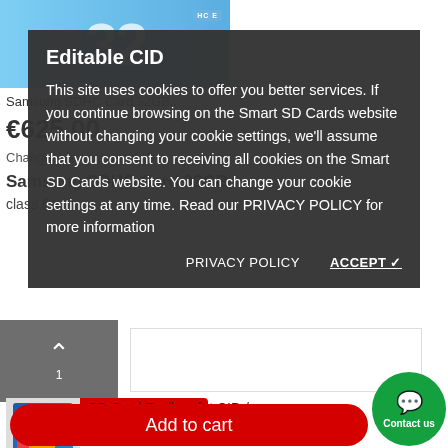[Figure (photo): SD card product image showing '32' text on blue background]
Samsung SDHC Card 32GB...
€625.00
Changeable, editable CID
Samsung SDHC  Card 32GB
class 6
Editable CID
This site uses cookies to offer you better services. If you continue browsing on the Smart SD Cards website without changing your cookie settings, we'll assume that you consent to receiving all cookies on the Smart SD Cards website. You can change your cookie settings at any time. Read our PRIVACY POLICY for more information
PRIVACY POLICY
ACCEPT ✓
[Figure (photo): SD Card Toolbox product thumbnail image]
SD Card Toolbox fot CID /...
€99.00
Add to cart
Contact us